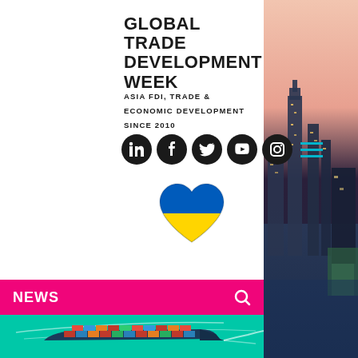GLOBAL TRADE DEVELOPMENT WEEK
ASIA FDI, TRADE & ECONOMIC DEVELOPMENT SINCE 2010
[Figure (infographic): Row of social media icons: LinkedIn, Facebook, Twitter, YouTube, Instagram (black circles), and a cyan hamburger menu icon]
[Figure (illustration): Ukraine flag heart emoji (blue and yellow heart)]
NEWS
[Figure (photo): Aerial view of a large container ship sailing on turquoise water]
[Figure (photo): Aerial view of a city skyline (appears to be Hong Kong or similar Asian city) with skyscrapers and waterfront, pink/dusk sky]